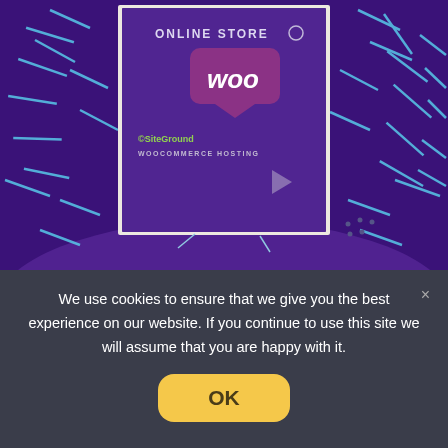[Figure (screenshot): Screenshot of a website showing an online store illustration with WooCommerce hosting branding on a purple background with decorative blue streak elements, and a New Card dialog partially visible below]
We use cookies to ensure that we give you the best experience on our website. If you continue to use this site we will assume that you are happy with it.
OK